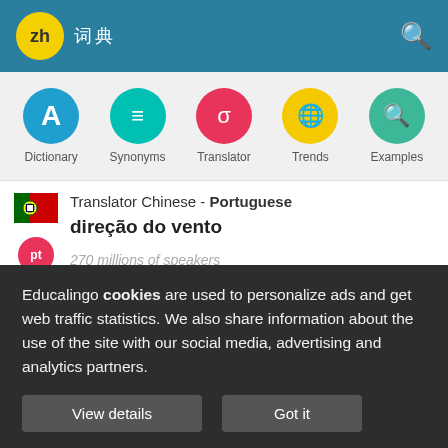zh 词典
[Figure (screenshot): Navigation icon row with Dictionary, Synonyms, Translator, Trends, Examples icon buttons]
Translator Chinese - Portuguese
direção do vento
270 millions of speakers
Translator Chinese - Bengali
Educalingo cookies are used to personalize ads and get web traffic statistics. We also share information about the use of the site with our social media, advertising and analytics partners.
View details  Got it